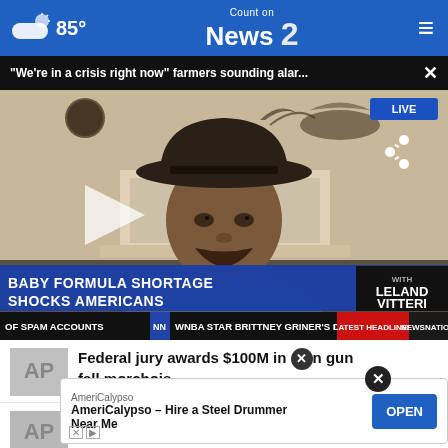85° Count on News 2 NBC
"We're in a crisis right now" farmers sounding alar... ×
[Figure (screenshot): Video still of a man wearing a dark cowboy hat, seated indoors. Lower third reads 'BABY FORMULA SHORTAGE SHOCKS AMERICANS' with a bug showing 'LELAND VITTERI'. Ticker bar below reads 'OF SPAM ACCOUNTS NN WNBA STAR BRITTNEY GRINER'S DETENTIO LATEST HEADLINES NEWSNATION'. LIVE badge in top right. Play button visible.]
Federal jury awards $100M in gun fall morchois
EPA waives fast track in 4 states after
AmeriCalypso
AmeriCalypso – Hire a Steel Drummer Near Me
OPEN